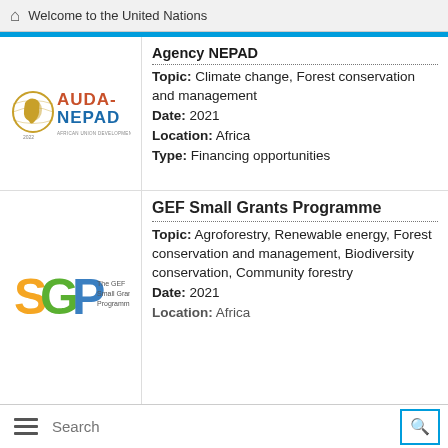Welcome to the United Nations
Agency NEPAD
Topic: Climate change, Forest conservation and management
Date: 2021
Location: Africa
Type: Financing opportunities
[Figure (logo): AUDA-NEPAD African Union Development Agency logo]
GEF Small Grants Programme
Topic: Agroforestry, Renewable energy, Forest conservation and management, Biodiversity conservation, Community forestry
Date: 2021
Location: Africa
[Figure (logo): SGP The GEF Small Grants Programme logo]